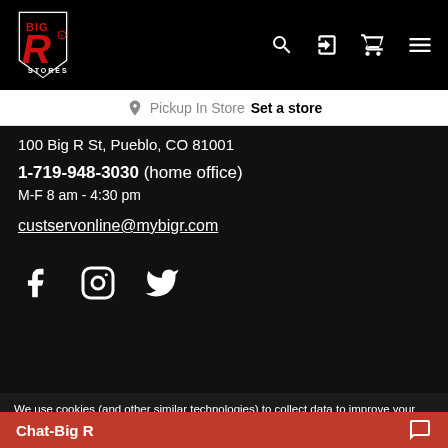[Figure (logo): Big R Stores logo - red shield with BIG R text in white/red]
Pickup In Store  Set a store
100 Big R St, Pueblo, CO 81001
1-719-948-3030 (home office)
M-F 8 am - 4:30 pm
custservonline@mybigr.com
[Figure (illustration): Social media icons: Facebook, Instagram, Twitter]
We use cookies (and other similar technologies) to collect data to improve your shopping experience.
Settings  Reject  [accept button]
Chat-Big R